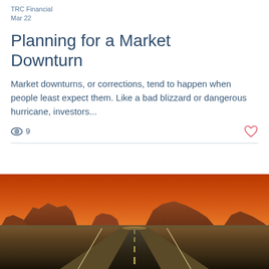TRC Financial
Mar 22
Planning for a Market Downturn
Market downturns, or corrections, tend to happen when people least expect them. Like a bad blizzard or dangerous hurricane, investors...
9
[Figure (photo): A long straight road stretching into the distance through a desert landscape with red rock mesas under a vivid orange sunset sky, reminiscent of Monument Valley.]